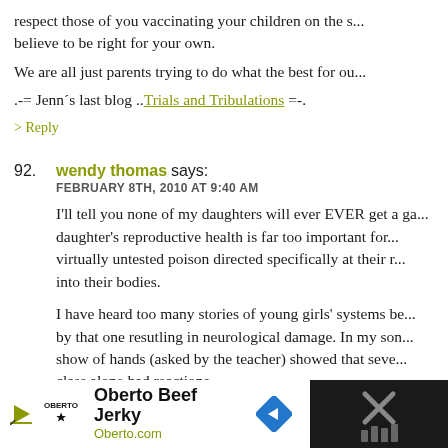respect those of you vaccinating your children on the s... believe to be right for your own.
We are all just parents trying to do what the best for ou...
.-= Jenn´s last blog ..Trials and Tribulations =-.
> Reply
92. wendy thomas says:
FEBRUARY 8TH, 2010 AT 9:40 AM
I'll tell you none of my daughters will ever EVER get a g... daughter's reproductive health is far too important for... virtually untested poison directed specifically at their r... into their bodies.
I have heard too many stories of young girls' systems be... by that one resutling in neurological damage. In my son... show of hands (asked by the teacher) showed that seve... class alone had reactions.
And now they are starting to reccommend that one for...
[Figure (other): Advertisement banner for Oberto Beef Jerky showing logo, play button, diamond arrow icon, and close button on dark background]